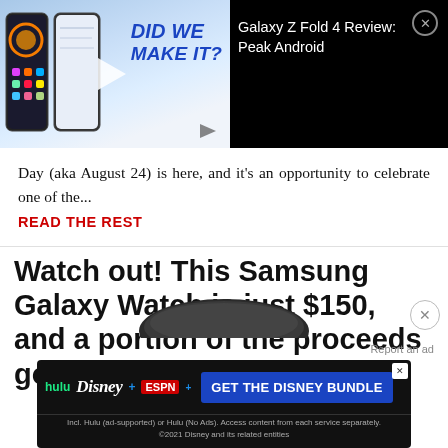[Figure (screenshot): Video thumbnail for Galaxy Z Fold 4 Review: Peak Android. Shows a Samsung Galaxy Z Fold 4 phone with text 'DID WE MAKE IT?' on a blue/white background with play button overlay.]
Galaxy Z Fold 4 Review: Peak Android
Day (aka August 24) is here, and it's an opportunity to celebrate one of the...
READ THE REST
Watch out! This Samsung Galaxy Watch is just $150, and a portion of the proceeds go to charity
[Figure (photo): Partial image of a Samsung Galaxy Watch in dark color, shown from above]
Report an ad
[Figure (infographic): Disney Bundle advertisement banner featuring Hulu, Disney+, and ESPN+ logos with 'GET THE DISNEY BUNDLE' call to action button. Fine print: Incl. Hulu (ad-supported) or Hulu (No Ads). Access content from each service separately. ©2021 Disney and its related entities]